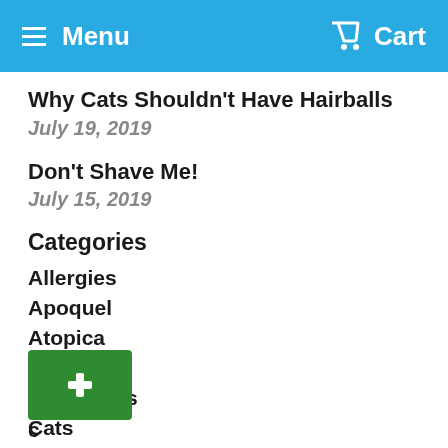Menu  Cart
Why Cats Shouldn't Have Hairballs
July 19, 2019
Don't Shave Me!
July 15, 2019
Categories
Allergies
Apoquel
Atopica
Breeds
Carnivores
Cats
Dog Food